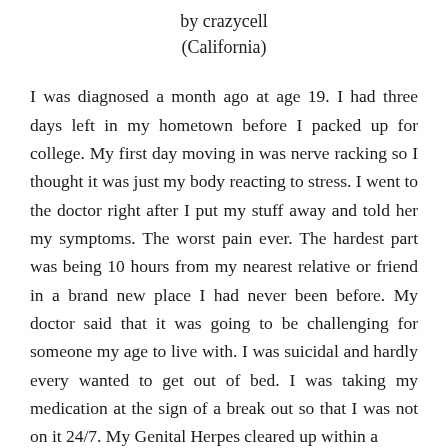by crazycell
(California)
I was diagnosed a month ago at age 19. I had three days left in my hometown before I packed up for college. My first day moving in was nerve racking so I thought it was just my body reacting to stress. I went to the doctor right after I put my stuff away and told her my symptoms. The worst pain ever. The hardest part was being 10 hours from my nearest relative or friend in a brand new place I had never been before. My doctor said that it was going to be challenging for someone my age to live with. I was suicidal and hardly every wanted to get out of bed. I was taking my medication at the sign of a break out so that I was not on it 24/7. My Genital Herpes cleared up within a